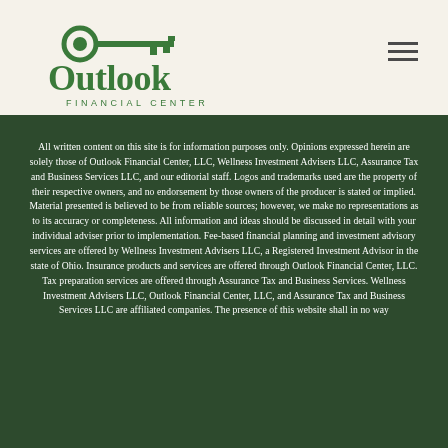[Figure (logo): Outlook Financial Center logo — green key icon above 'Outlook' in large serif text, with 'FINANCIAL CENTER' in smaller spaced caps below]
All written content on this site is for information purposes only. Opinions expressed herein are solely those of Outlook Financial Center, LLC, Wellness Investment Advisers LLC, Assurance Tax and Business Services LLC, and our editorial staff. Logos and trademarks used are the property of their respective owners, and no endorsement by those owners of the producer is stated or implied. Material presented is believed to be from reliable sources; however, we make no representations as to its accuracy or completeness. All information and ideas should be discussed in detail with your individual adviser prior to implementation. Fee-based financial planning and investment advisory services are offered by Wellness Investment Advisers LLC, a Registered Investment Advisor in the state of Ohio. Insurance products and services are offered through Outlook Financial Center, LLC. Tax preparation services are offered through Assurance Tax and Business Services. Wellness Investment Advisers LLC, Outlook Financial Center, LLC, and Assurance Tax and Business Services LLC are affiliated companies. The presence of this website shall in no way